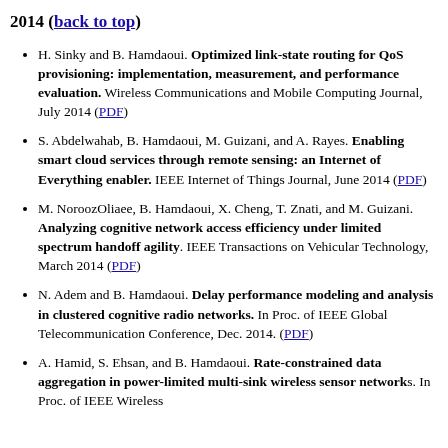2014 (back to top)
H. Sinky and B. Hamdaoui. Optimized link-state routing for QoS provisioning: implementation, measurement, and performance evaluation. Wireless Communications and Mobile Computing Journal, July 2014 (PDF)
S. Abdelwahab, B. Hamdaoui, M. Guizani, and A. Rayes. Enabling smart cloud services through remote sensing: an Internet of Everything enabler. IEEE Internet of Things Journal, June 2014 (PDF)
M. NoroozOliaee, B. Hamdaoui, X. Cheng, T. Znati, and M. Guizani. Analyzing cognitive network access efficiency under limited spectrum handoff agility. IEEE Transactions on Vehicular Technology, March 2014 (PDF)
N. Adem and B. Hamdaoui. Delay performance modeling and analysis in clustered cognitive radio networks. In Proc. of IEEE Global Telecommunication Conference, Dec. 2014. (PDF)
A. Hamid, S. Ehsan, and B. Hamdaoui. Rate-constrained data aggregation in power-limited multi-sink wireless sensor networks. In Proc. of IEEE Wireless